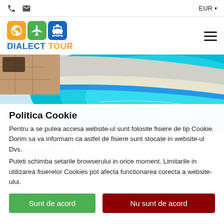EUR ▾
[Figure (logo): Dialect Tour logo with globe, airplane, and ship icons in orange, green, and blue squares, with text DIALECT TOUR]
[Figure (photo): Overhead view of a blue swimming pool with tiled edge and patio furniture visible in upper left corner]
★★
Pavlidis Hotel
Politica Cookie
Pentru a se putea accesa website-ul sunt folosite fisiere de tip Cookie. Dorim sa va informam ca astfel de fisiere sunt stocate in website-ul Dvs.
Puteti schimba setarile browserului in orice moment. Limitarile in utilizarea fisierelor Cookies pot afecta functionarea corecta a website-ului.
Sunt de acord
Nu sunt de acord